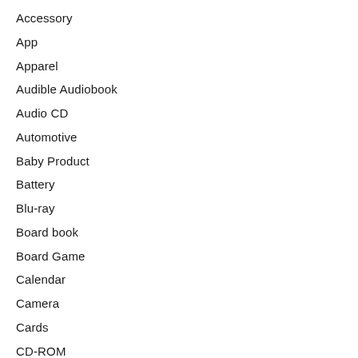Accessory
App
Apparel
Audible Audiobook
Audio CD
Automotive
Baby Product
Battery
Blu-ray
Board book
Board Game
Calendar
Camera
Cards
CD-ROM
DVD
DVD-ROM